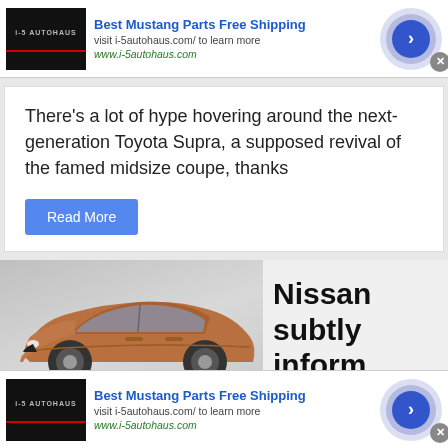[Figure (screenshot): Ad banner for Best Mustang Parts Free Shipping with autohaus thumbnail, arrow button, and close X]
There’s a lot of hype hovering around the next-generation Toyota Supra, a supposed revival of the famed midsize coupe, thanks
Read More
[Figure (photo): Copper/bronze colored Nissan Murano SUV on grey background]
Nissan subtly inform a the
[Figure (screenshot): Ad banner for Best Mustang Parts Free Shipping with autohaus thumbnail, arrow button, and close X (bottom)]